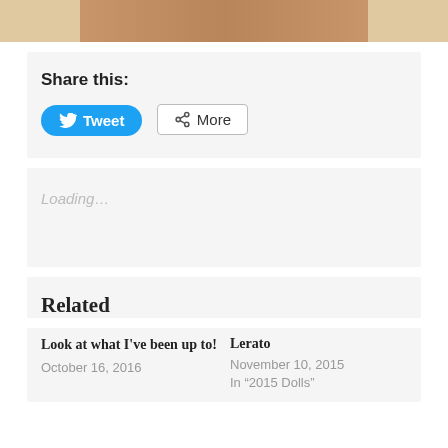[Figure (photo): Partial photo strip showing a person's torso/clothing in warm brown tones]
Share this:
Tweet  More
Loading...
Related
Look at what I've been up to!
October 16, 2016
Lerato
November 10, 2015
In "2015 Dolls"